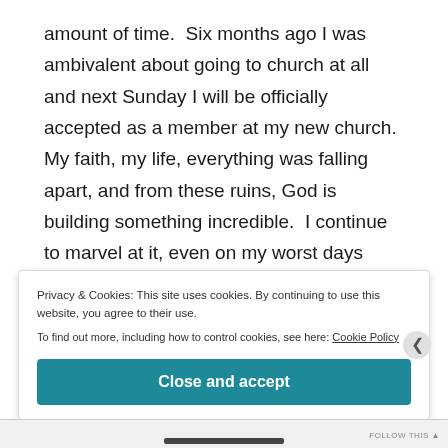amount of time.  Six months ago I was ambivalent about going to church at all and next Sunday I will be officially accepted as a member at my new church.  My faith, my life, everything was falling apart, and from these ruins, God is building something incredible.  I continue to marvel at it, even on my worst days when I'm my own worst enemy.

I see myself at a crossroads asking God, "Now what?"  I don't want to linger too long in this place, for I fear I
Privacy & Cookies: This site uses cookies. By continuing to use this website, you agree to their use.
To find out more, including how to control cookies, see here: Cookie Policy
Close and accept